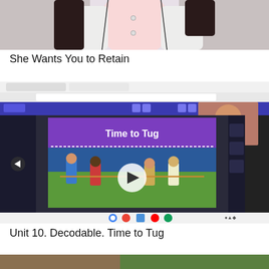[Figure (illustration): Cropped illustration of an animated/manga-style female figure in a white shirt, partially cut off at bottom of frame, with gray background]
She Wants You to Retain
[Figure (screenshot): Screenshot of a browser/video conferencing interface showing a presentation with 'Time to Tug' title, children playing tug of war, a video play button overlay, and a person visible in a webcam thumbnail]
Unit 10. Decodable. Time to Tug
[Figure (photo): Partial photo at bottom of page, mostly cropped, appears to show an outdoor scene]